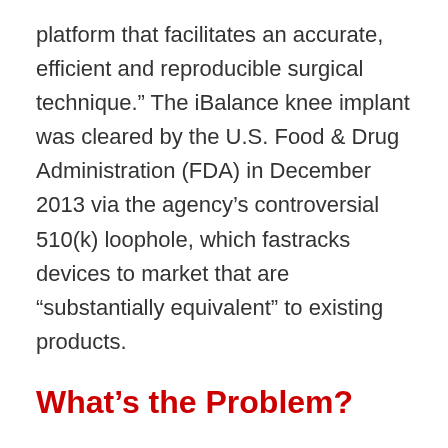platform that facilitates an accurate, efficient and reproducible surgical technique.” The iBalance knee implant was cleared by the U.S. Food & Drug Administration (FDA) in December 2013 via the agency’s controversial 510(k) loophole, which fastracks devices to market that are “substantially equivalent” to existing products.
What’s the Problem?
It has been estimated that more than one million people undergo knee replacement surgery each year in the U.S. While these surgeries can work wonders in returning mobility to patients, many knee